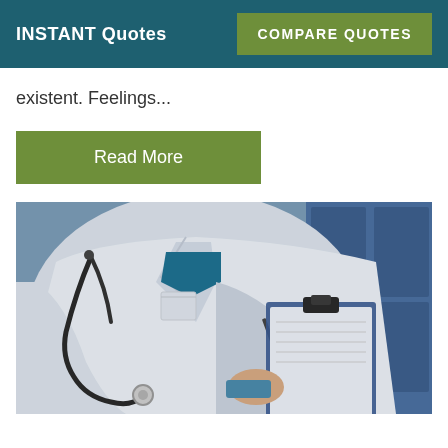INSTANT Quotes | COMPARE QUOTES
existent. Feelings...
Read More
[Figure (photo): Close-up photo of a doctor in a white coat with a stethoscope, writing on a clipboard]